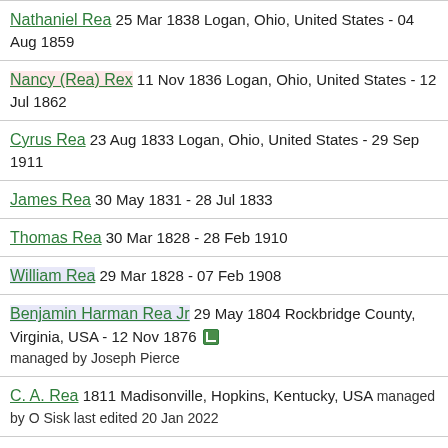Nathaniel Rea 25 Mar 1838 Logan, Ohio, United States - 04 Aug 1859
Nancy (Rea) Rex 11 Nov 1836 Logan, Ohio, United States - 12 Jul 1862
Cyrus Rea 23 Aug 1833 Logan, Ohio, United States - 29 Sep 1911
James Rea 30 May 1831 - 28 Jul 1833
Thomas Rea 30 Mar 1828 - 28 Feb 1910
William Rea 29 Mar 1828 - 07 Feb 1908
Benjamin Harman Rea Jr 29 May 1804 Rockbridge County, Virginia, USA - 12 Nov 1876 managed by Joseph Pierce
C. A. Rea 1811 Madisonville, Hopkins, Kentucky, USA managed by O Sisk last edited 20 Jan 2022
Judson Knapp Rea 16 Jan 1860 North Carolina